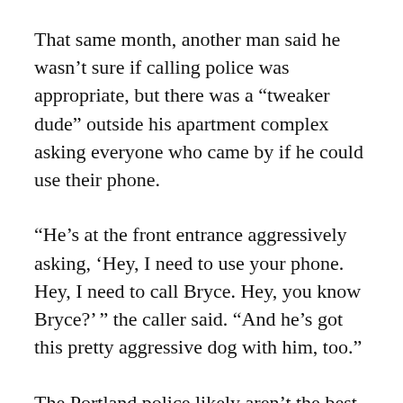That same month, another man said he wasn't sure if calling police was appropriate, but there was a “tweaker dude” outside his apartment complex asking everyone who came by if he could use their phone.
“He’s at the front entrance aggressively asking, ‘Hey, I need to use your phone. Hey, I need to call Bryce. Hey, you know Bryce?’ ” the caller said. “And he’s got this pretty aggressive dog with him, too.”
The Portland police likely aren’t the best equipped to address the fundamental issues at play. Advocates who work with the unhoused say that in a lot of these cases, police are responding to an